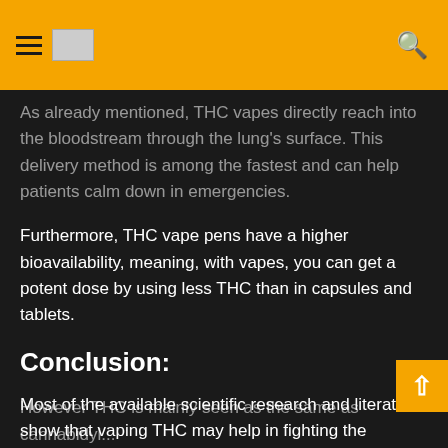[hamburger menu] [logo image] [search icon]
As already mentioned, THC vapes directly reach into the bloodstream through the lung's surface. This delivery method is among the fastest and can help patients calm down in emergencies.
Furthermore, THC vape pens have a higher bioavailability, meaning, with vapes, you can get a potent dose by using less THC than in capsules and tablets.
Conclusion:
Most of the available scientific research and literature show that vaping THC may help in fighting the symptoms of PTSD. Vaping THC can help in lowering stress and anxiety levels. Moreover, it can also help in promoting sleep.
However THC is mainly seen as the same as cannabidiol...